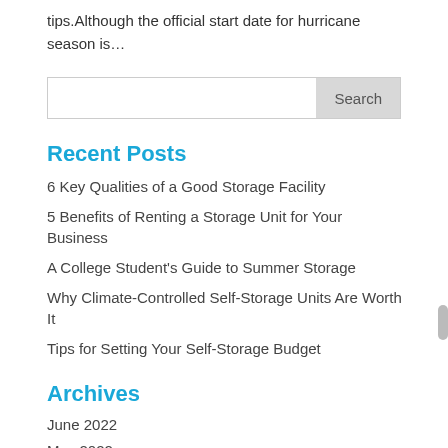tips.Although the official start date for hurricane season is…
Search
Recent Posts
6 Key Qualities of a Good Storage Facility
5 Benefits of Renting a Storage Unit for Your Business
A College Student's Guide to Summer Storage
Why Climate-Controlled Self-Storage Units Are Worth It
Tips for Setting Your Self-Storage Budget
Archives
June 2022
May 2022